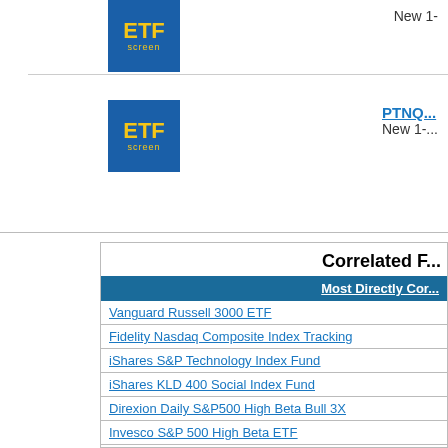[Figure (logo): ETF Screen logo card 1 (top, partially visible)]
New 1-...
[Figure (logo): ETF Screen logo card 2 with PTNQ ticker link]
PTNQ...
New 1-...
Correlated F...
| Most Directly Cor... |
| --- |
| Vanguard Russell 3000 ETF |
| Fidelity Nasdaq Composite Index Tracking |
| iShares S&P Technology Index Fund |
| iShares KLD 400 Social Index Fund |
| Direxion Daily S&P500 High Beta Bull 3X |
| Invesco S&P 500 High Beta ETF |
| Vanguard Growth |
| Vanguard ESG US Stock ETF |
| iShares S&P 500 Growth ETF |
| iShares US Technology |
| Least Correla... |
| Invesco 1-30 Laddered Treasury Port |
| SPDR Ultra Short Term Bond Fund |
| CurrencyShares Japanese Yen Trust |